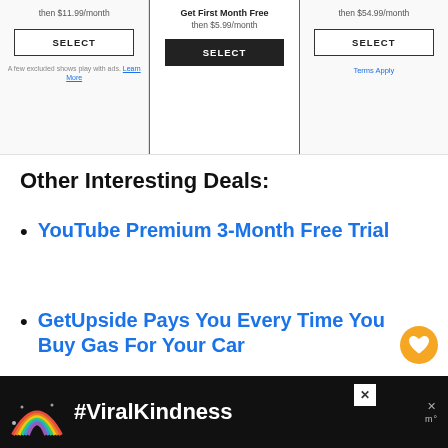[Figure (screenshot): Top panel showing three subscription plan columns with SELECT buttons. Left column: 'then $11.99/month' with SELECT button and note 'A few excluded shows play with ads. Learn More'. Middle column: 'Get First Month Free then $5.99/month' with dark SELECT button. Right column: 'then $54.99/month' with SELECT button and 'Terms Apply' link.]
Other Interesting Deals:
YouTube Premium 3-Month Free Trial
GetUpside Pays You Every Time You Buy Gas For Your Car
Fetch Rewards Pays You For Scanning Your Grocery Receipts
[Figure (screenshot): Dark ad banner at bottom with rainbow illustration and #ViralKindness text in white, close button (X), and additional icon on the right.]